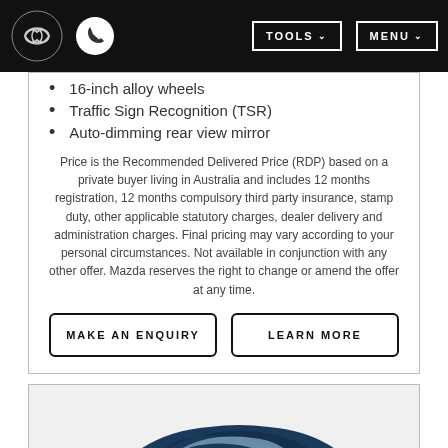Mazda navigation bar with logo, phone, TOOLS and MENU buttons
16-inch alloy wheels
Traffic Sign Recognition (TSR)
Auto-dimming rear view mirror
Price is the Recommended Delivered Price (RDP) based on a private buyer living in Australia and includes 12 months registration, 12 months compulsory third party insurance, stamp duty, other applicable statutory charges, dealer delivery and administration charges. Final pricing may vary according to your personal circumstances. Not available in conjunction with any other offer. Mazda reserves the right to change or amend the offer at any time.
MAKE AN ENQUIRY
LEARN MORE
[Figure (photo): Dark blue Mazda 2 hatchback car photographed from a front three-quarter angle on a white background]